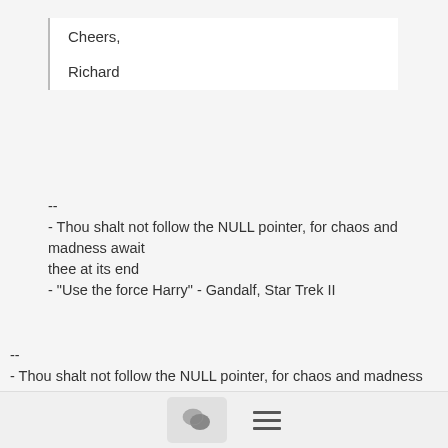Cheers,

Richard
--
- Thou shalt not follow the NULL pointer, for chaos and madness await
thee at its end
- "Use the force Harry" - Gandalf, Star Trek II
--
- Thou shalt not follow the NULL pointer, for chaos and madness await
[Figure (screenshot): Bottom toolbar with chat bubble icon button and hamburger menu icon]